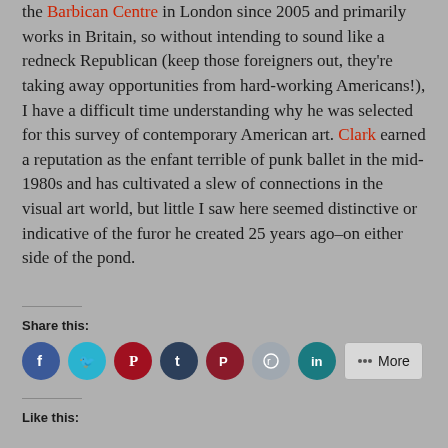the Barbican Centre in London since 2005 and primarily works in Britain, so without intending to sound like a redneck Republican (keep those foreigners out, they're taking away opportunities from hard-working Americans!), I have a difficult time understanding why he was selected for this survey of contemporary American art. Clark earned a reputation as the enfant terrible of punk ballet in the mid-1980s and has cultivated a slew of connections in the visual art world, but little I saw here seemed distinctive or indicative of the furor he created 25 years ago–on either side of the pond.
Share this:
[Figure (infographic): Social sharing icons: Facebook (blue), Twitter (teal), Pinterest (dark red), Tumblr (dark navy), Pocket (dark red/maroon), Reddit (light grey), LinkedIn (teal), and a More button]
Like this: